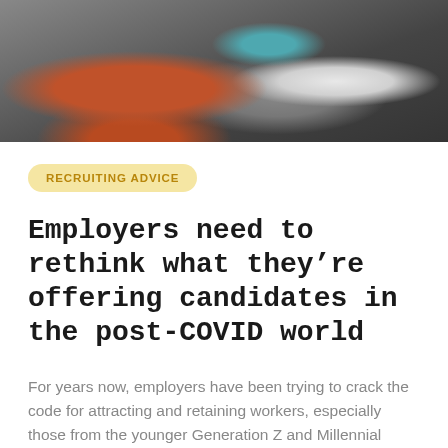[Figure (photo): Photo of a person in a red top sitting at a desk with a laptop, a teal mug and white bottle visible in the background]
RECRUITING ADVICE
Employers need to rethink what they're offering candidates in the post-COVID world
For years now, employers have been trying to crack the code for attracting and retaining workers, especially those from the younger Generation Z and Millennial cohorts.
Peter Harris